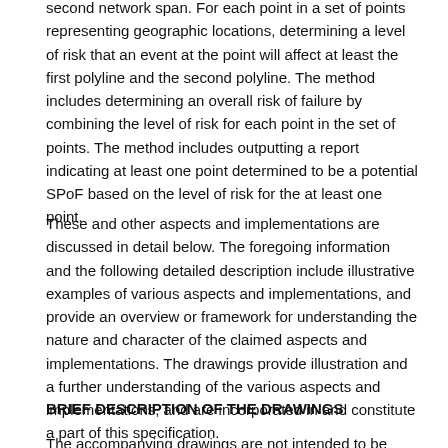second network span. For each point in a set of points representing geographic locations, determining a level of risk that an event at the point will affect at least the first polyline and the second polyline. The method includes determining an overall risk of failure by combining the level of risk for each point in the set of points. The method includes outputting a report indicating at least one point determined to be a potential SPoF based on the level of risk for the at least one point.
These and other aspects and implementations are discussed in detail below. The foregoing information and the following detailed description include illustrative examples of various aspects and implementations, and provide an overview or framework for understanding the nature and character of the claimed aspects and implementations. The drawings provide illustration and a further understanding of the various aspects and implementations, and are incorporated in and constitute a part of this specification.
BRIEF DESCRIPTION OF THE DRAWINGS
The accompanying drawings are not intended to be drawn